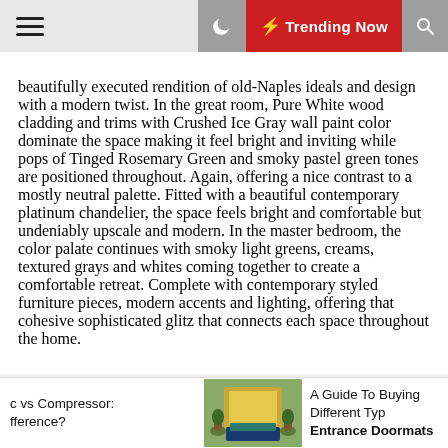≡  ☽  ⚡ Trending Now  🔍
beautifully executed rendition of old-Naples ideals and design with a modern twist. In the great room, Pure White wood cladding and trims with Crushed Ice Gray wall paint color dominate the space making it feel bright and inviting while pops of Tinged Rosemary Green and smoky pastel green tones are positioned throughout. Again, offering a nice contrast to a mostly neutral palette. Fitted with a beautiful contemporary platinum chandelier, the space feels bright and comfortable but undeniably upscale and modern. In the master bedroom, the color palate continues with smoky light greens, creams, textured grays and whites coming together to create a comfortable retreat. Complete with contemporary styled furniture pieces, modern accents and lighting, offering that cohesive sophisticated glitz that connects each space throughout the home.
[Figure (illustration): Thumbnail image of a doormat with green plants on either side, a teal mat in front of a yellow door]
c vs Compressor: fference?
A Guide To Buying Different Typ Entrance Doormats